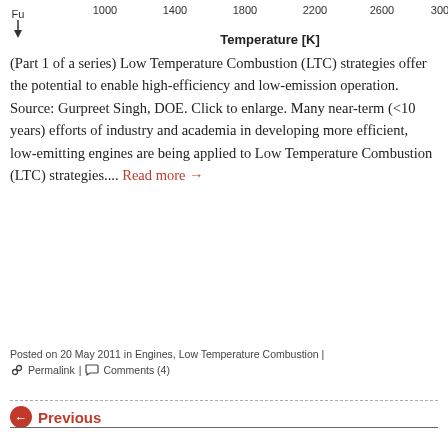[Figure (continuous-plot): Top portion of a combustion chart showing x-axis temperature scale in Kelvin (1000, 1400, 1800, 2200, 2600, 3000) and partial y-axis label 'Fu' with downward arrow. This is a fragment of a Low Temperature Combustion diagram.]
(Part 1 of a series) Low Temperature Combustion (LTC) strategies offer the potential to enable high-efficiency and low-emission operation. Source: Gurpreet Singh, DOE. Click to enlarge. Many near-term (<10 years) efforts of industry and academia in developing more efficient, low-emitting engines are being applied to Low Temperature Combustion (LTC) strategies.... Read more →
Posted on 20 May 2011 in Engines, Low Temperature Combustion | Permalink | Comments (4)
← Previous